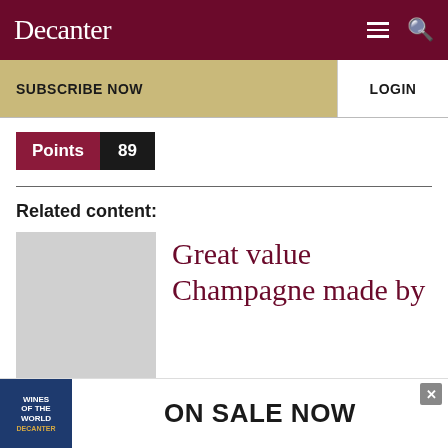Decanter
SUBSCRIBE NOW
LOGIN
Points 89
Related content:
[Figure (photo): Thumbnail image placeholder for article about Great value Champagne]
Great value Champagne made by
[Figure (infographic): Advertisement banner: Wines of the World book — ON SALE NOW]